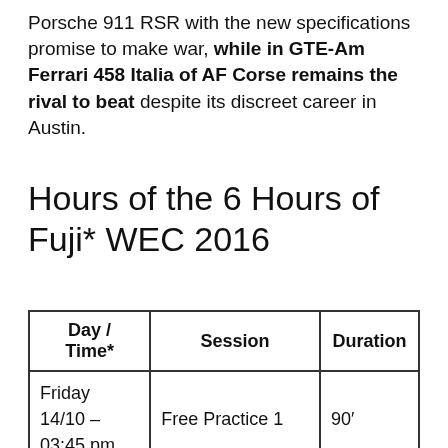Porsche 911 RSR with the new specifications promise to make war, while in GTE-Am Ferrari 458 Italia of AF Corse remains the rival to beat despite its discreet career in Austin.
Hours of the 6 Hours of Fuji* WEC 2016
| Day / Time* | Session | Duration |
| --- | --- | --- |
| Friday 14/10 – 03:45 pm | Free Practice 1 | 90′ |
| Friday 14/10 | Free Practice 2 | 90′ |